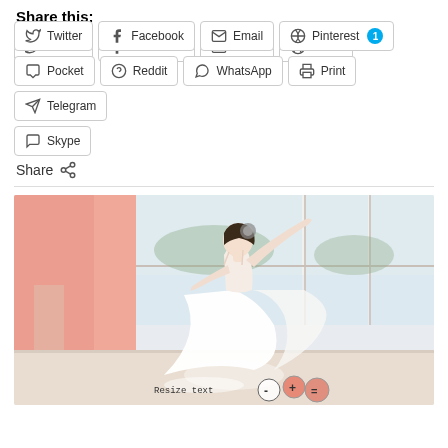Share this:
Twitter  Facebook  Email  Pinterest 1  Pocket  Reddit  WhatsApp  Print  Telegram  Skype
Share
[Figure (photo): A young female ballet dancer in a white tutu dress and floral headpiece, posed with arms extended in a bright dance studio with large windows and peach-colored curtains. A 'Resize text' toolbar is visible in the bottom right corner.]